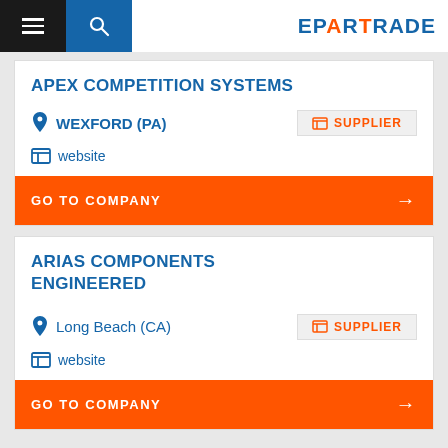EPARTRADE
APEX COMPETITION SYSTEMS
WEXFORD (PA)
SUPPLIER
website
GO TO COMPANY
ARIAS COMPONENTS ENGINEERED
Long Beach (CA)
SUPPLIER
website
GO TO COMPANY